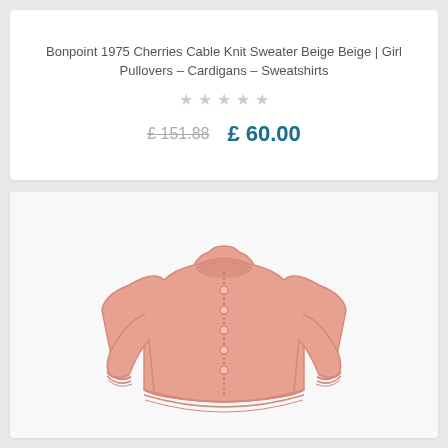Bonpoint 1975 Cherries Cable Knit Sweater Beige Beige | Girl Pullovers – Cardigans – Sweatshirts
★★★★★ (empty stars rating)
£ 151.88   £ 60.00
[Figure (photo): Pink knit cardigan sweater for girls, crew neck, button-front, long sleeves, ribbed cuffs and hem, displayed on white background]